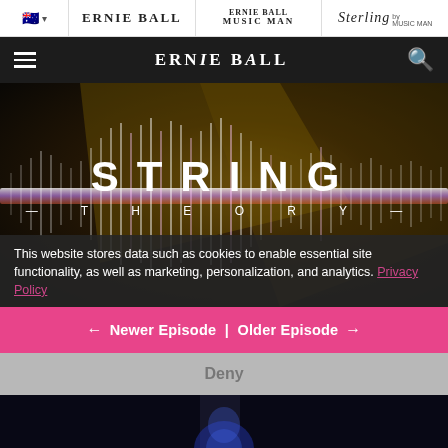Ernie Ball | Ernie Ball Music Man | Sterling by Music Man navigation bar
[Figure (screenshot): Ernie Ball website main navigation bar with hamburger menu, Ernie Ball logo, and search icon on dark background]
[Figure (photo): String Theory hero image — 'STRING THEORY' text over dark moody guitar strings background with waveform graphic]
This website stores data such as cookies to enable essential site functionality, as well as marketing, personalization, and analytics. Privacy Policy
← Newer Episode | Older Episode →
Deny
[Figure (photo): Partial bottom image showing dark blue background, presumably a person's head/portrait]